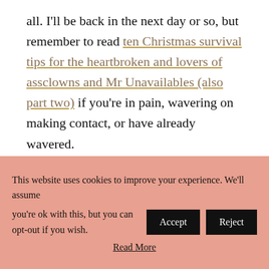all. I'll be back in the next day or so, but remember to read ten Christmas survival tips for the heartbroken and lovers of assclowns and Mr Unavailables (also part two) if you're in pain, wavering on making contact, or have already wavered.
Over the last week, there have been a few posts that coincide with some of the emotions and experiences that you may be going through, such as, if you have to
This website uses cookies to improve your experience. We'll assume you're ok with this, but you can opt-out if you wish. [Accept] [Reject] Read More